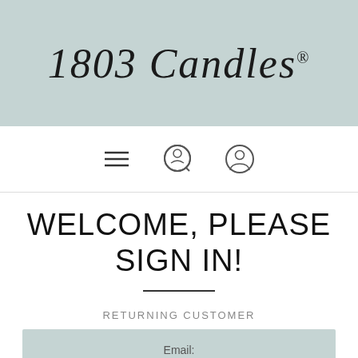[Figure (logo): 1803 Candles script logo with registered trademark symbol on muted teal/sage background]
[Figure (other): Navigation bar with hamburger menu icon, search icon (magnifying glass with person silhouette), and account/person icon]
WELCOME, PLEASE SIGN IN!
RETURNING CUSTOMER
Email: